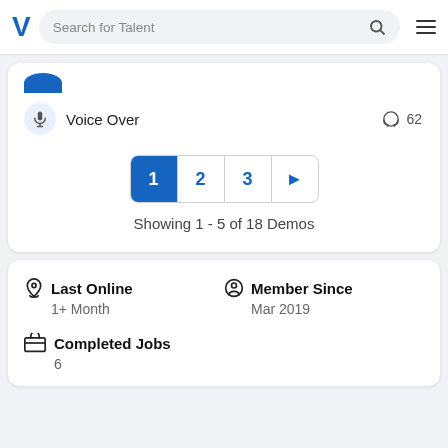Search for Talent
[Figure (screenshot): Partially visible blue profile circle]
Voice Over   62
1  2  3  ▶
Showing 1 - 5 of 18 Demos
Last Online
1+ Month
Member Since
Mar 2019
Completed Jobs
6